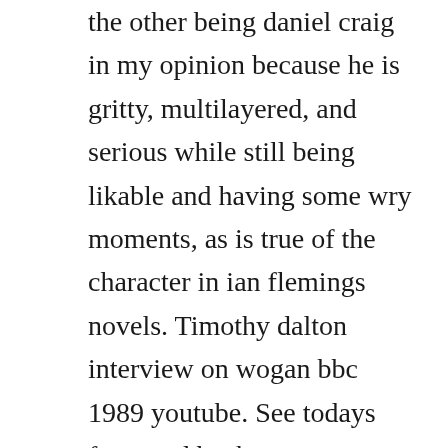the other being daniel craig in my opinion because he is gritty, multilayered, and serious while still being likable and having some wry moments, as is true of the character in ian flemings novels. Timothy dalton interview on wogan bbc 1989 youtube. See todays front and back pages, download the newspaper, order. The top city of residence is san diego, followed by moorpark. Timothy dalton transformation from 20 to 72 years old duration.
On thursday, june 25th, hbo max will premiere an original second season of the